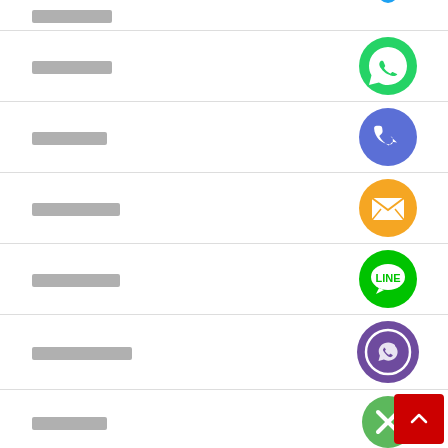████████
[Figure (illustration): WhatsApp green circle icon with white phone handset]
███████
[Figure (illustration): Blue circle phone call icon]
███████
[Figure (illustration): Orange circle email/envelope icon]
████████
[Figure (illustration): Green LINE app circle icon]
█████████
[Figure (illustration): Purple Viber circle icon]
███████
[Figure (illustration): Green circle with X/close icon]
███████
███████